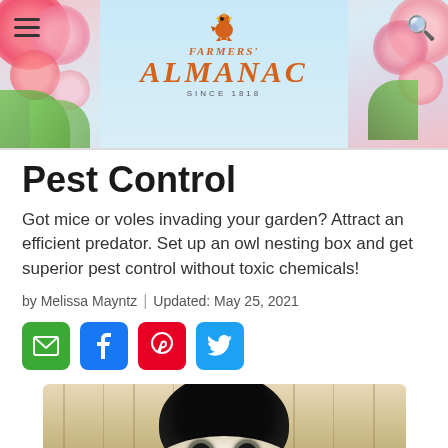[Figure (photo): Farmers' Almanac website header banner with floral decorations, hamburger menu icon on left, search icon on right, and the Farmers' Almanac logo with rooster in center. Text reads FARMERS' ALMANAC SINCE 1818.]
Pest Control
Got mice or voles invading your garden? Attract an efficient predator. Set up an owl nesting box and get superior pest control without toxic chemicals!
by Melissa Mayntz | Updated: May 25, 2021
[Figure (other): Social sharing buttons: green email button, blue Facebook button, red Pinterest button, light blue Twitter button]
[Figure (photo): Photo of an owl peeking out of a round hole in a wooden nesting box]